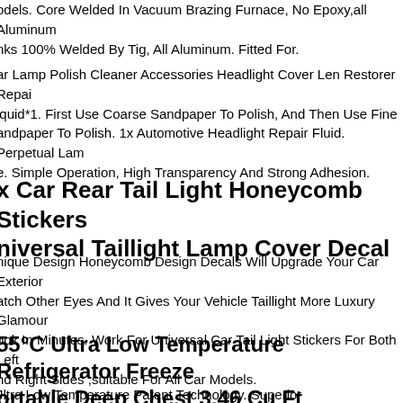odels. Core Welded In Vacuum Brazing Furnace, No Epoxy,all Aluminum nks 100% Welded By Tig, All Aluminum. Fitted For.
ar Lamp Polish Cleaner Accessories Headlight Cover Len Restorer Repai iquid*1. First Use Coarse Sandpaper To Polish, And Then Use Fine andpaper To Polish. 1x Automotive Headlight Repair Fluid. Perpetual Lam e. Simple Operation, High Transparency And Strong Adhesion.
x Car Rear Tail Light Honeycomb Stickers niversal Taillight Lamp Cover Decal
nique Design Honeycomb Design Decals Will Upgrade Your Car Exterior atch Other Eyes And It Gives Your Vehicle Taillight More Luxury Glamour ook In Minutes. Work For Universal Car Tail Light Stickers For Both Left nd Right Sides ,suitable For All Car Models.
55°C Ultra Low Temperature Refrigerator Freeze ortable Deep Chest 3.46 Cu Ft
Jltra Low Temperature Patent Technology. Superior Performance(strong